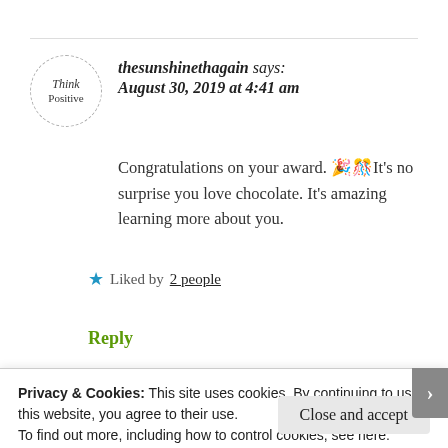[Figure (logo): Think Positive blog avatar: circular dashed border with handwritten 'Think Positive' text]
thesunshinethagain says:
August 30, 2019 at 4:41 am
Congratulations on your award. 🎉🎊It's no surprise you love chocolate. It's amazing learning more about you.
★ Liked by 2 people
Reply
Privacy & Cookies: This site uses cookies. By continuing to use this website, you agree to their use.
To find out more, including how to control cookies, see here: Cookie Policy
Close and accept